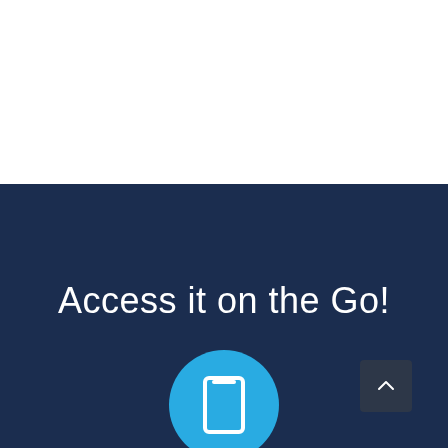[Figure (illustration): White top section of a webpage, empty content area]
Access it on the Go!
[Figure (illustration): Dark navy blue background section with a light blue circular mobile app icon at the bottom center, and a dark scroll-to-top button at bottom right with a caret/chevron up arrow]